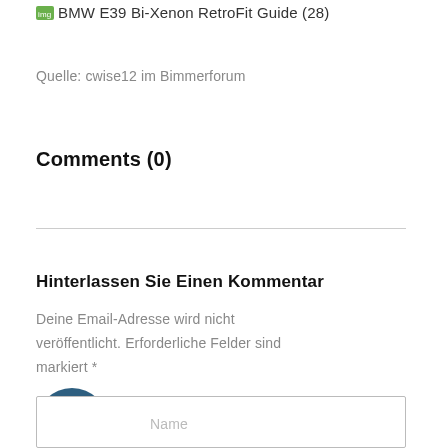BMW E39 Bi-Xenon RetroFit Guide (28)
Quelle: cwise12 im Bimmerforum
Comments (0)
Hinterlassen Sie Einen Kommentar
Deine Email-Adresse wird nicht veröffentlicht. Erforderliche Felder sind markiert *